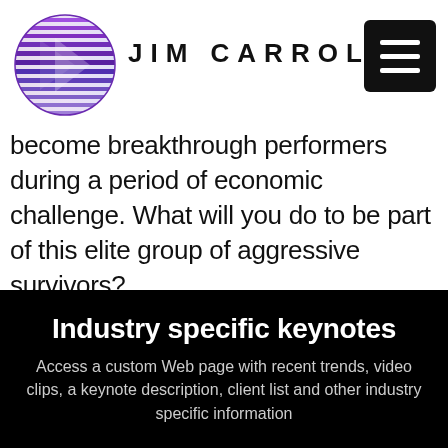[Figure (logo): Jim Carroll logo: purple/blue sphere with horizontal speed lines, beside bold spaced text JIM CARROLL and a black hamburger menu button]
become breakthrough performers during a period of economic challenge. What will you do to be part of this elite group of aggressive survivors?
Industry specific keynotes
Access a custom Web page with recent trends, video clips, a keynote description, client list and other industry specific information